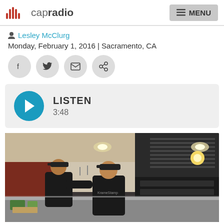capradio | MENU
Lesley McClurg
Monday, February 1, 2016 | Sacramento, CA
[Figure (screenshot): Social share buttons: Facebook, Twitter, Email, Link]
[Figure (infographic): Audio player with play button, LISTEN label, duration 3:48]
[Figure (photo): Two workers in black shirts working in a commercial restaurant kitchen with stainless steel equipment and overhead lighting]